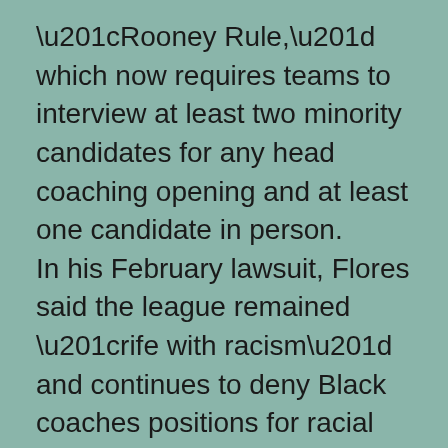“Rooney Rule,” which now requires teams to interview at least two minority candidates for any head coaching opening and at least one candidate in person. In his February lawsuit, Flores said the league remained “rife with racism” and continues to deny Black coaches positions for racial reasons, making it difficult for them to become general managers, head coaches, offensive and defensive coordinators and quarterbacks coaches in particular. His lawsuit sought class-action status and unspecified damages. In their papers, the